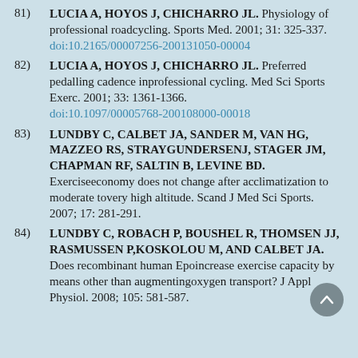81) LUCIA A, HOYOS J, CHICHARRO JL. Physiology of professional roadcycling. Sports Med. 2001; 31: 325-337. doi:10.2165/00007256-200131050-00004
82) LUCIA A, HOYOS J, CHICHARRO JL. Preferred pedalling cadence inprofessional cycling. Med Sci Sports Exerc. 2001; 33: 1361-1366. doi:10.1097/00005768-200108000-00018
83) LUNDBY C, CALBET JA, SANDER M, VAN HG, MAZZEO RS, STRAYGUNDERSENJ, STAGER JM, CHAPMAN RF, SALTIN B, LEVINE BD. Exerciseeconomy does not change after acclimatization to moderate tovery high altitude. Scand J Med Sci Sports. 2007; 17: 281-291.
84) LUNDBY C, ROBACH P, BOUSHEL R, THOMSEN JJ, RASMUSSEN P,KOSKOLOU M, AND CALBET JA. Does recombinant human Epoincrease exercise capacity by means other than augmentingoxygen transport? J Appl Physiol. 2008; 105: 581-587.